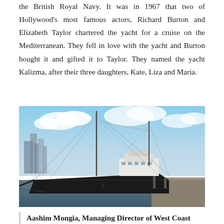the British Royal Navy. It was in 1967 that two of Hollywood's most famous actors, Richard Burton and Elizabeth Taylor chartered the yacht for a cruise on the Mediterranean. They fell in love with the yacht and Burton bought it and gifted it to Taylor. They named the yacht Kalizma, after their three daughters, Kate, Liza and Maria.
[Figure (photo): A large dark-hulled yacht moored at a dock, with a city skyline visible in the background under a partly cloudy sky. The vessel has masts, rigging, and a white superstructure.]
Aashim Mongia, Managing Director of West Coast Marine Yacht Services, is talking about the